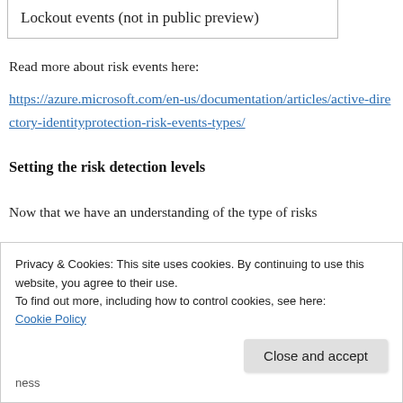| Lockout events (not in public preview) |
Read more about risk events here:
https://azure.microsoft.com/en-us/documentation/articles/active-directory-identityprotection-risk-events-types/
Setting the risk detection levels
Now that we have an understanding of the type of risks
Privacy & Cookies: This site uses cookies. By continuing to use this website, you agree to their use.
To find out more, including how to control cookies, see here:
Cookie Policy
Close and accept